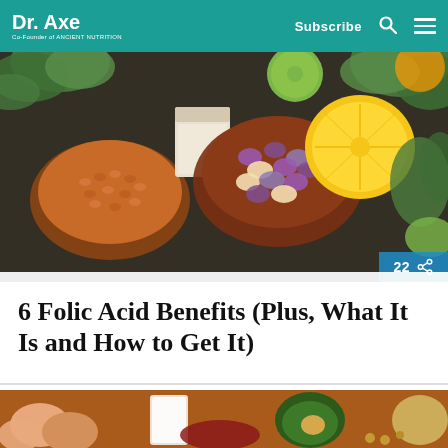Dr. Axe — Co-Founder of ANCIENT NUTRITION | Subscribe
[Figure (photo): Overhead shot of various foods rich in folic acid: bowls of lentils and mixed beans, leafy greens, citrus fruits (lemon, lime, orange), milk carton, herbs on a dark wooden background. Badge showing share count 22.]
6 Folic Acid Benefits (Plus, What It Is and How to Get It)
[Figure (photo): Close-up of foods including eggs, milk, avocado, meat, beans and other ingredients on a wooden surface.]